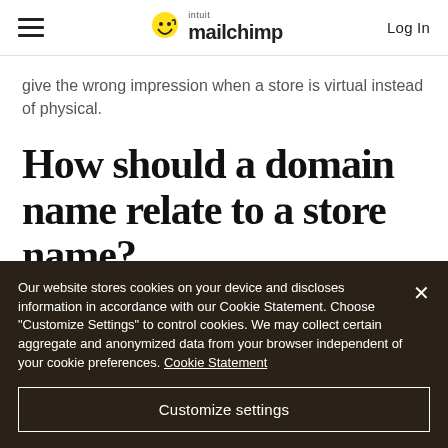Mailchimp navigation bar with hamburger menu, Intuit Mailchimp logo, and Log In button
give the wrong impression when a store is virtual instead of physical.
How should a domain name relate to a store name?
Our website stores cookies on your device and discloses information in accordance with our Cookie Statement. Choose "Customize Settings" to control cookies. We may collect certain aggregate and anonymized data from your browser independent of your cookie preferences. Cookie Statement
Customize settings